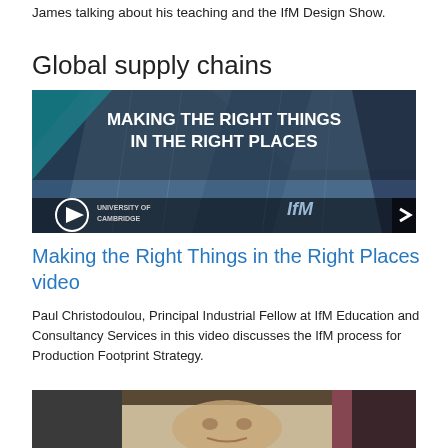James talking about his teaching and the IfM Design Show.
Global supply chains
[Figure (screenshot): Video thumbnail showing a building with text overlay 'MAKING THE RIGHT THINGS IN THE RIGHT PLACES', University of Cambridge and IfM logos with a play button]
Making the Right Things in the Right Places video
Paul Christodoulou, Principal Industrial Fellow at IfM Education and Consultancy Services in this video discusses the IfM process for Production Footprint Strategy.
[Figure (photo): Photo of a man speaking, partially visible at the bottom of the page]